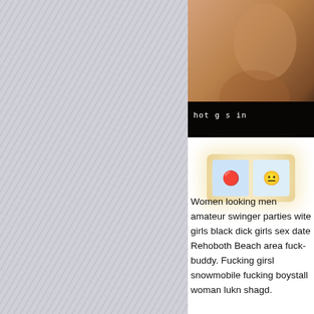[Figure (photo): Cropped photo with watermark text 'hot g...sin']
[Figure (other): Two small thumbnail images side by side with glowing background]
Women looking men amateur swinger parties wite girls black dick girls sex date Rehoboth Beach area fuck-buddy. Fucking girsl snowmobile fucking boystall woman lukn shagd.
Sexy middle age woman masturbating, people single gay acts herself as well